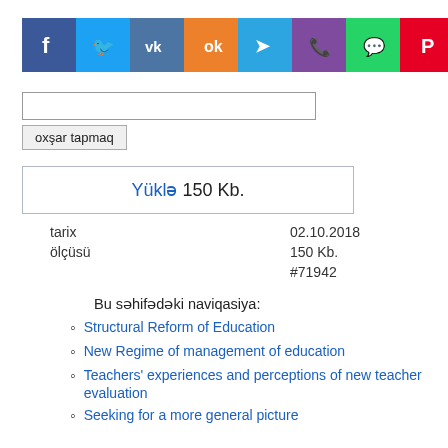[Figure (other): Social media sharing icons row: Facebook (blue), Twitter (light blue), VK (steel blue), Odnoklassniki (orange), Telegram (blue), Viber (purple), WhatsApp (green), Pinterest (red)]
oxşar tapmaq
Yüklə 150 Kb.
| tarix | 02.10.2018 |
| ölçüsü | 150 Kb. |
|  | #71942 |
Bu səhifədəki naviqasiya:
Structural Reform of Education
New Regime of management of education
Teachers' experiences and perceptions of new teacher evaluation
Seeking for a more general picture